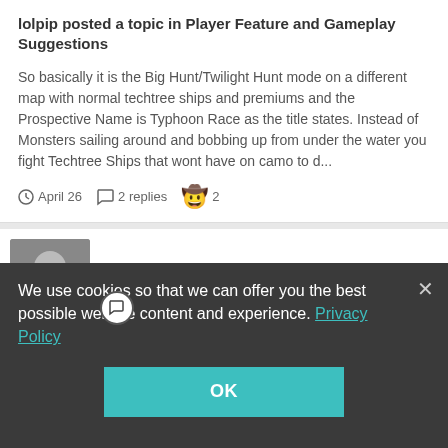lolpip posted a topic in Player Feature and Gameplay Suggestions
So basically it is the Big Hunt/Twilight Hunt mode on a different map with normal techtree ships and premiums and the Prospective Name is Typhoon Race as the title states. Instead of Monsters sailing around and bobbing up from under the water you fight Techtree Ships that wont have on camo to d...
April 26   2 replies   2
[Figure (screenshot): User avatar placeholder (grey silhouette) for a forum post]
Want ship slots
We use cookies so that we can offer you the best possible website content and experience. Privacy Policy
OK